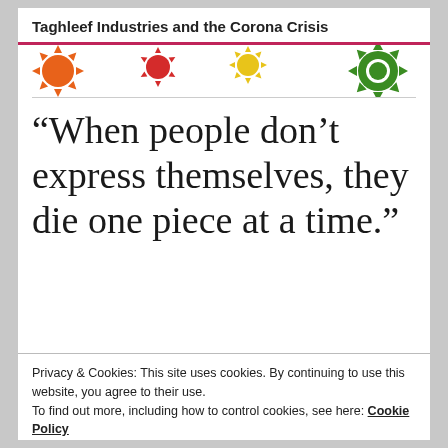Taghleef Industries and the Corona Crisis
[Figure (illustration): Colorful cartoon coronavirus/germ icons in orange, red, yellow, and green on a white background strip]
“When people don’t express themselves, they die one piece at a time.”
Privacy & Cookies: This site uses cookies. By continuing to use this website, you agree to their use.
To find out more, including how to control cookies, see here: Cookie Policy
“A good traveler has no fixed